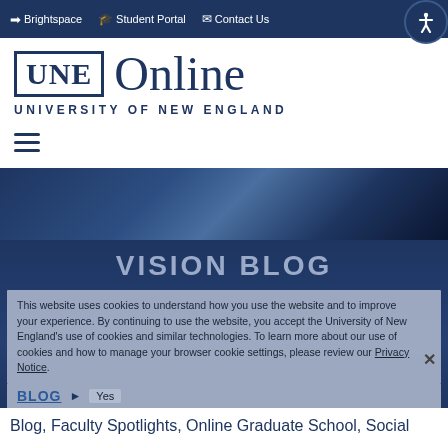Brightspace | Student Portal | Contact Us
[Figure (logo): UNE Online - University of New England logo with navy blue box containing UNE text and Online text beside it]
[Figure (other): Hamburger menu icon (three horizontal lines)]
[Figure (photo): Dark navy blue hero section with diagonal lighting effect]
VISION BLOG
This website uses cookies to understand how you use the website and to improve your experience. By continuing to use the website, you accept the University of New England's use of cookies and similar technologies. To learn more about our use of cookies and how to manage your browser cookie settings, please review our Privacy Notice.
Yes
BLOG
Blog, Faculty Spotlights, Online Graduate School, Social